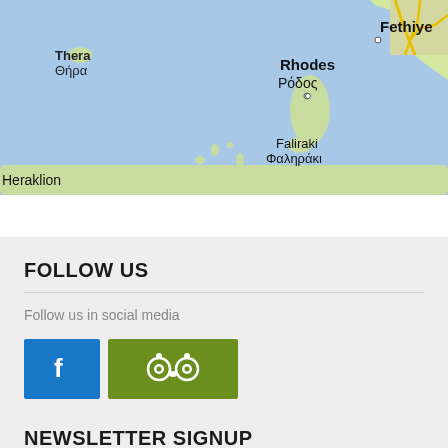[Figure (map): Google Maps view of the Aegean Sea showing Greek islands including Thera (Thira), Rhodes (Rodos), Faliraki, Heraklion, and Turkish city Fethiye. Blue sea with green land masses and road markings.]
FOLLOW US
Follow us in social media
[Figure (logo): Facebook blue button with white 'f' icon and TripAdvisor olive-green button with owl face icon]
NEWSLETTER SIGNUP